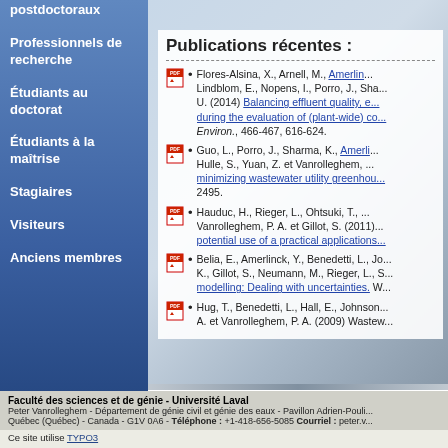postdoctoraux
Professionnels de recherche
Étudiants au doctorat
Étudiants à la maîtrise
Stagiaires
Visiteurs
Anciens membres
Publications récentes :
Flores-Alsina, X., Arnell, M., Amerli... Lindblom, E., Nopens, I., Porro, J., Sha... U. (2014) Balancing effluent quality, e... during the evaluation of (plant-wide) co... Environ., 466-467, 616-624.
Guo, L., Porro, J., Sharma, K., Amerli... Hulle, S., Yuan, Z. et Vanrolleghem, ... minimizing wastewater utility greenhou... 2495.
Hauduc, H., Rieger, L., Ohtsuki, T., ... Vanrolleghem, P. A. et Gillot, S. (2011)... potential use of a practical applications...
Belia, E., Amerlinck, Y., Benedetti, L., Jo... K., Gillot, S., Neumann, M., Rieger, L., S... modelling: Dealing with uncertainties. W...
Hug, T., Benedetti, L., Hall, E., Johnson... A. et Vanrolleghem, P. A. (2009) Wastew...
Faculté des sciences et de génie - Université Laval
Peter Vanrolleghem - Département de génie civil et génie des eaux - Pavillon Adrien-Pouli...
Québec (Québec) - Canada - G1V 0A6 - Téléphone : +1-418-656-5085 Courriel : peter.v...
Ce site utilise TYPO3